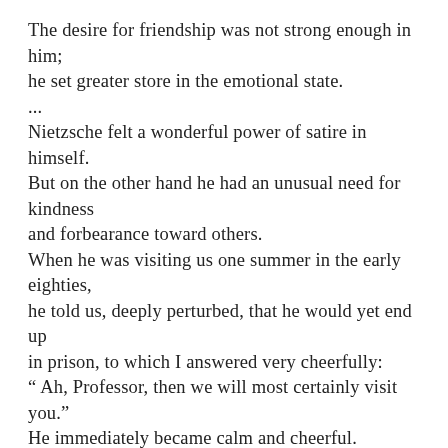The desire for friendship was not strong enough in him;
he set greater store in the emotional state.
...
Nietzsche felt a wonderful power of satire in himself.
But on the other hand he had an unusual need for kindness
and forbearance toward others.
When he was visiting us one summer in the early eighties,
he told us, deeply perturbed, that he would yet end up
in prison, to which I answered very cheerfully:
“ Ah, Professor, then we will most certainly visit you.”
He immediately became calm and cheerful.
Nietzsche always lacked self-certainty;
such was the honesty of his character and intellect.